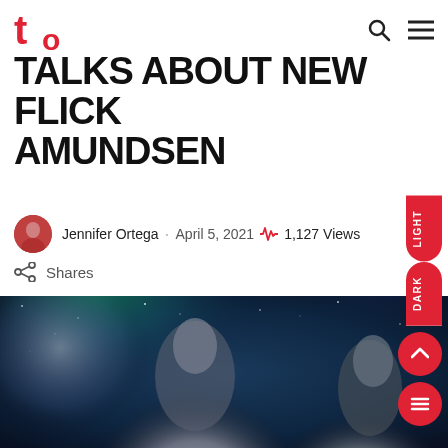CO logo, search icon, menu icon
Talks about New Flick AMUNDSEN
Jennifer Ortega · April 5, 2021  1,127 Views
Shares
[Figure (photo): Hero image showing two figures (man and woman) against a dark space/nebula background with stars and green glow]
[Figure (other): LIGHT/DARK mode toggle button on right side]